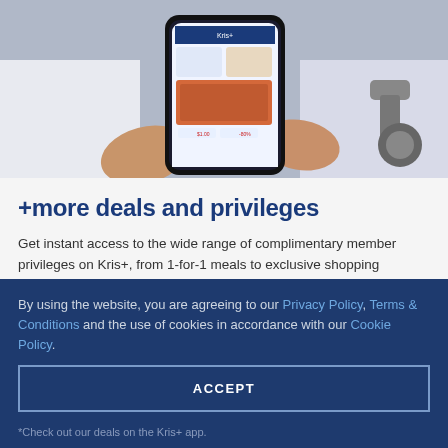[Figure (photo): Person holding a smartphone displaying the Kris+ app with deals and dining offers on screen. Person wearing white clothing, with a camera strap visible.]
+more deals and privileges
Get instant access to the wide range of complimentary member privileges on Kris+, from 1-for-1 meals to exclusive shopping discounts. Or browse our limited deals and indulge yourself in $1 pastry offers, 80% off massage vouchers and more*.
With over 1000 partner outlets islandwide for dining, retail
By using the website, you are agreeing to our Privacy Policy, Terms & Conditions and the use of cookies in accordance with our Cookie Policy.
ACCEPT
*Check out our deals on the Kris+ app.